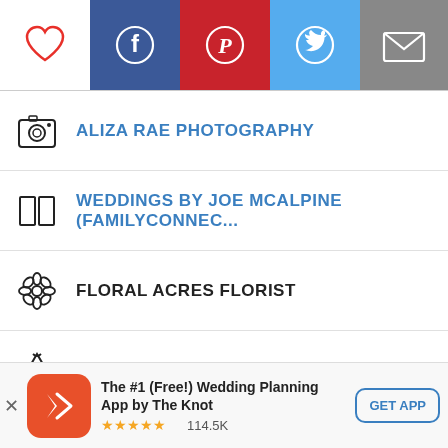[Figure (screenshot): Top toolbar with heart icon, Facebook, Pinterest, Twitter, and email share buttons]
ALIZA RAE PHOTOGRAPHY
WEDDINGS BY JOE MCALPINE (FAMILYCONNEC...
FLORAL ACRES FLORIST
BCBG
EXPRESS MEN
[Figure (screenshot): App advertisement banner: The Knot wedding planning app. Shows close button, app icon, title 'The #1 (Free!) Wedding Planning App by The Knot', 5 stars, 114.5K reviews, GET APP button]